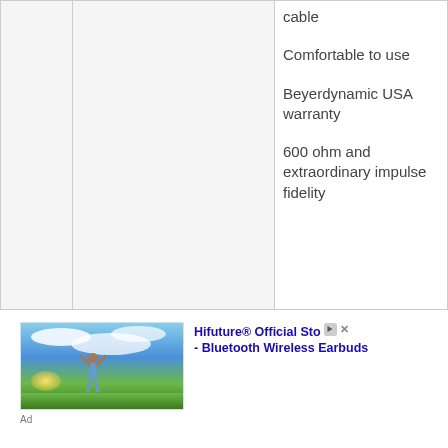|  |  | cable

Comfortable to use

Beyerdynamic USA warranty

600 ohm and extraordinary impulse fidelity |
[Figure (photo): Advertisement photo showing a person with arms raised on a green field under a blue sky with clouds and sun glow]
Hifuture® Official Store - Bluetooth Wireless Earbuds
Ad